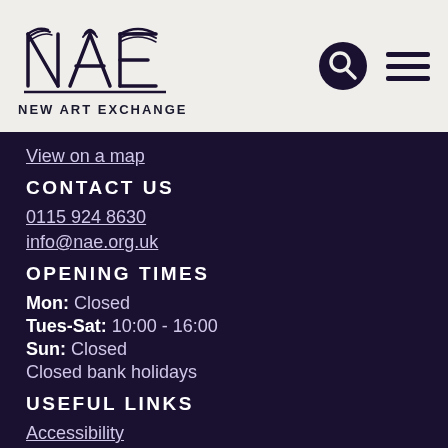[Figure (logo): New Art Exchange logo with stylized NAE lettering and text NEW ART EXCHANGE below]
View on a map
CONTACT US
0115 924 8630
info@nae.org.uk
OPENING TIMES
Mon: Closed
Tues-Sat: 10:00 - 16:00
Sun: Closed
Closed bank holidays
USEFUL LINKS
Accessibility
Privacy Policy